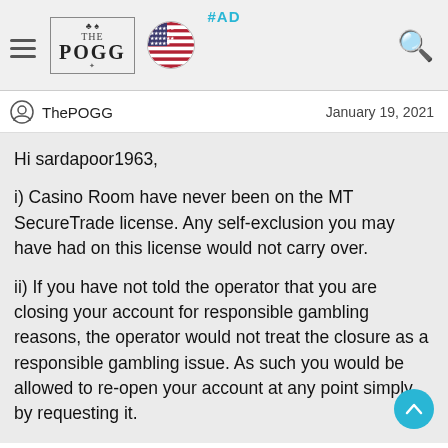#AD | THE POGG (logo) | US flag | Search icon
ThePOGG   January 19, 2021
Hi sardapoor1963,

i) Casino Room have never been on the MT SecureTrade license. Any self-exclusion you may have had on this license would not carry over.

ii) If you have not told the operator that you are closing your account for responsible gambling reasons, the operator would not treat the closure as a responsible gambling issue. As such you would be allowed to re-open your account at any point simply by requesting it.

iii) Self-exclusions do not carry over to other properties on the license unless you explicitly request this happens under the MGA licensing